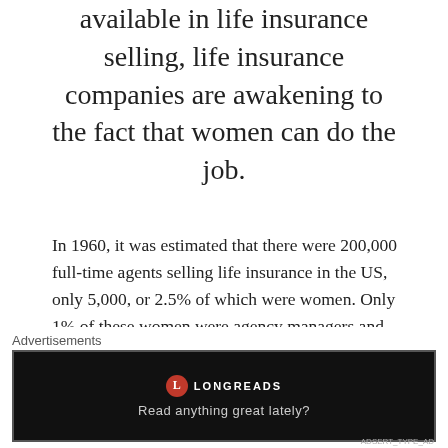available in life insurance selling, life insurance companies are awakening to the fact that women can do the job.
In 1960, it was estimated that there were 200,000 full-time agents selling life insurance in the US, only 5,000, or 2.5% of which were women. Only 1% of these women were agency managers and assistants. This was a reduction from 1945, during the war, when women made up 5% of the total agents. By 1968, the number of female agents had risen to 11,000. An article in the Baltimore Afro-American newspaper from December 16,
Advertisements
[Figure (other): Longreads advertisement banner with dark background, red circle logo with 'L', text 'LONGREADS' and tagline 'Read anything great lately?']